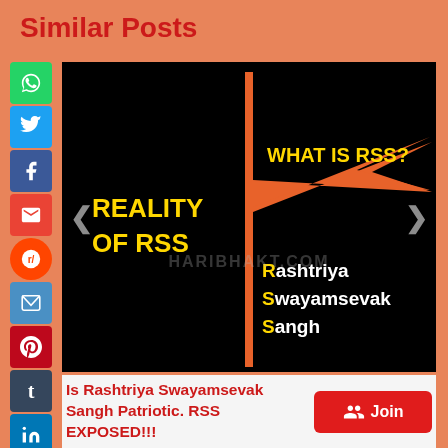Similar Posts
[Figure (illustration): Black background image showing an orange RSS flag/pennant on a pole. Left side text reads 'REALITY OF RSS' in yellow bold. Right side reads 'WHAT IS RSS?' in yellow bold. Bottom right shows 'Rashtriya Swayamsevak Sangh' with R, S, S highlighted in yellow. Watermark 'HARIBHAKT.COM' visible in center.]
Is Rashtriya Swayamsevak Sangh Patriotic. RSS EXPOSED!!!